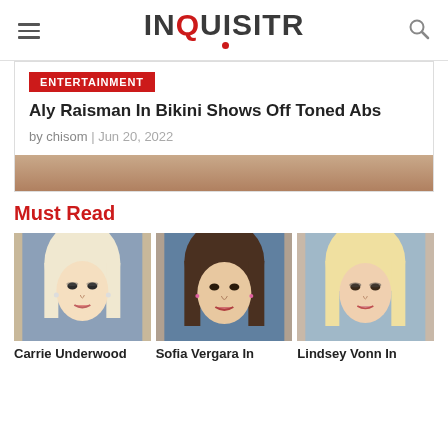INQUISITR
Aly Raisman In Bikini Shows Off Toned Abs
by chisom | Jun 20, 2022
Must Read
[Figure (photo): Carrie Underwood headshot]
Carrie Underwood
[Figure (photo): Sofia Vergara headshot]
Sofia Vergara In
[Figure (photo): Lindsey Vonn headshot]
Lindsey Vonn In